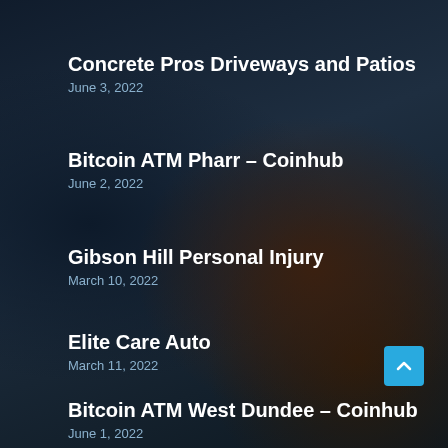Concrete Pros Driveways and Patios
June 3, 2022
Bitcoin ATM Pharr – Coinhub
June 2, 2022
Gibson Hill Personal Injury
March 10, 2022
Elite Care Auto
March 11, 2022
Bitcoin ATM West Dundee – Coinhub
June 1, 2022